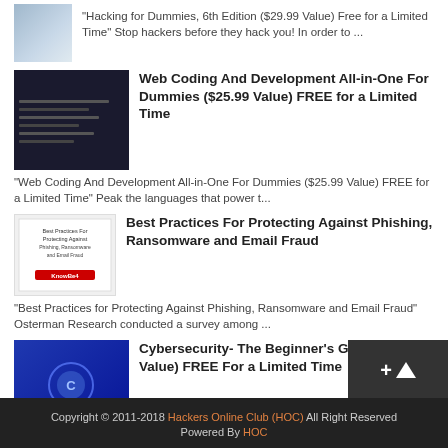"Hacking for Dummies, 6th Edition ($29.99 Value) Free for a Limited Time" Stop hackers before they hack you! In order to ...
Web Coding And Development All-in-One For Dummies ($25.99 Value) FREE for a Limited Time
"Web Coding And Development All-in-One For Dummies ($25.99 Value) FREE for a Limited Time" Peak the languages that power t...
Best Practices For Protecting Against Phishing, Ransomware and Email Fraud
"Best Practices for Protecting Against Phishing, Ransomware and Email Fraud" Osterman Research conducted a survey among ...
Cybersecurity- The Beginner's Guide ($29.99 Value) FREE For a Limited Time
"Cybersecurity: The Beginner's Guide ($29.99 Value) FREE For a Limited Time". Understand the nitty-gritty of Cybersec...
Copyright © 2011-2018 Hackers Online Club (HOC) All Right Reserved Powered By HOC